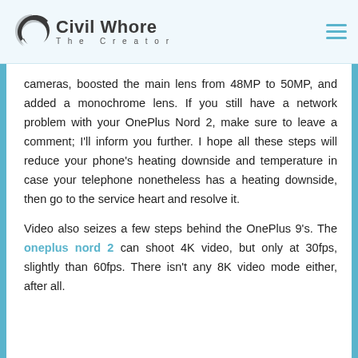Civil Whore The Creator
cameras, boosted the main lens from 48MP to 50MP, and added a monochrome lens. If you still have a network problem with your OnePlus Nord 2, make sure to leave a comment; I'll inform you further. I hope all these steps will reduce your phone's heating downside and temperature in case your telephone nonetheless has a heating downside, then go to the service heart and resolve it.
Video also seizes a few steps behind the OnePlus 9's. The oneplus nord 2 can shoot 4K video, but only at 30fps, slightly than 60fps. There isn't any 8K video mode either, after all.